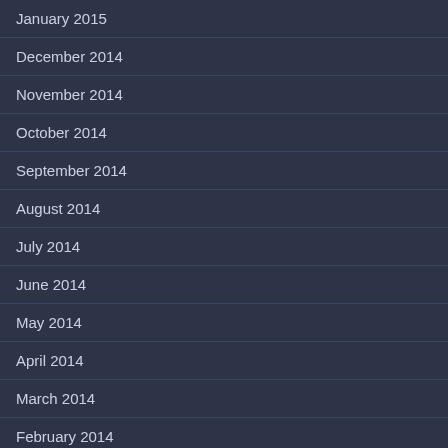January 2015
December 2014
November 2014
October 2014
September 2014
August 2014
July 2014
June 2014
May 2014
April 2014
March 2014
February 2014
January 2014